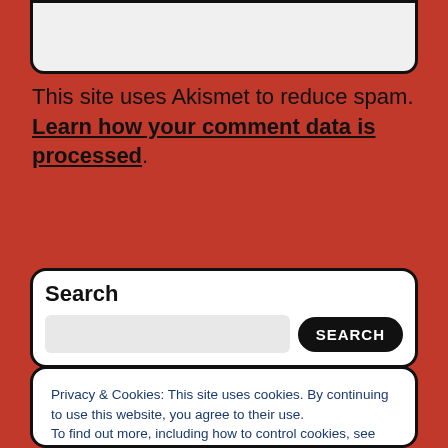[Figure (screenshot): Top portion of a rounded white input box (partially visible at top of page)]
This site uses Akismet to reduce spam. Learn how your comment data is processed.
[Figure (screenshot): Search widget box with title 'Search', a text input field, and a black 'SEARCH' button]
[Figure (screenshot): Cookie consent banner with privacy notice text, 'Cookie Policy' link, and 'Close and accept' button]